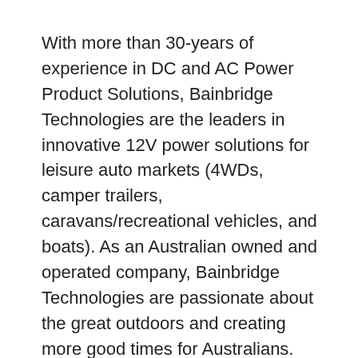With more than 30-years of experience in DC and AC Power Product Solutions, Bainbridge Technologies are the leaders in innovative 12V power solutions for leisure auto markets (4WDs, camper trailers, caravans/recreational vehicles, and boats). As an Australian owned and operated company, Bainbridge Technologies are passionate about the great outdoors and creating more good times for Australians.
Bainbridge Technologies offer the largest range of high quality and reliable product solutions in Australia; including battery chargers, lithium batteries, solar power, inverters, inverter chargers, sockets, panels, meters, 12-volt accessories, and more.
Today, Bainbridge Technologies’ primary focus is to continually innovate and create integrated, powerful, and reliable power management systems to provide business customers and consumers with complete